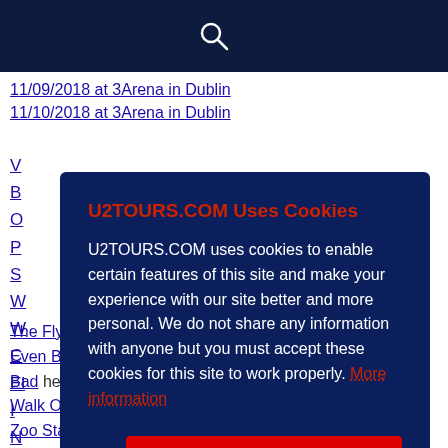U2 Tours
11/09/2018 at 3Arena in Dublin
11/10/2018 at 3Arena in Dublin
[Figure (screenshot): Cookie consent modal dialog with dark navy background. Title: 'U2TOURS.COM Uses Cookies' in red. Body text explaining cookie usage. 'More information' link in red. 'Accept Cookies' button in red.]
The Fly heard 12 times.
Even Better Than The Real Thing heard 11 times.
Bad heard 10 times.
Walk On heard 10 times.
Zoo Station heard 9 times.